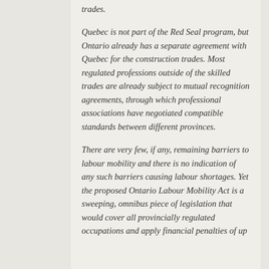trades.
Quebec is not part of the Red Seal program, but Ontario already has a separate agreement with Quebec for the construction trades. Most regulated professions outside of the skilled trades are already subject to mutual recognition agreements, through which professional associations have negotiated compatible standards between different provinces.
There are very few, if any, remaining barriers to labour mobility and there is no indication of any such barriers causing labour shortages. Yet the proposed Ontario Labour Mobility Act is a sweeping, omnibus piece of legislation that would cover all provincially regulated occupations and apply financial penalties of up